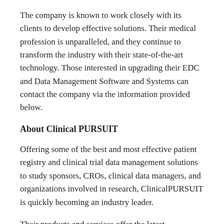The company is known to work closely with its clients to develop effective solutions. Their medical profession is unparalleled, and they continue to transform the industry with their state-of-the-art technology. Those interested in upgrading their EDC and Data Management Software and Systems can contact the company via the information provided below.
About Clinical PURSUIT
Offering some of the best and most effective patient registry and clinical trial data management solutions to study sponsors, CROs, clinical data managers, and organizations involved in research, ClinicalPURSUIT is quickly becoming an industry leader.
Their products and services offer the latest technological advancements, providing better features that improve